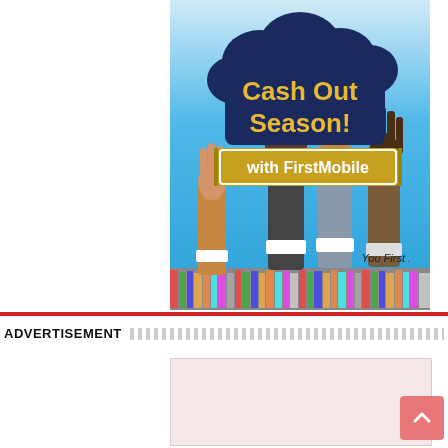[Figure (illustration): Cash Out Season with FirstMobile advertisement. Blue sky background with multiple hands raised up. Dark navy cloud/speech bubble shape with gold text 'Cash Out Season!' and a gold banner saying 'with FirstMobile'. Bottom has colorful crowd. 'You First' tagline in lower right. Illustrated hands include a light-skinned hand, a dark-suited arm, a grey-suited arm, and a dark-skinned hand.]
ADVERTISEMENT
[Figure (other): Empty pinkish advertisement placeholder box.]